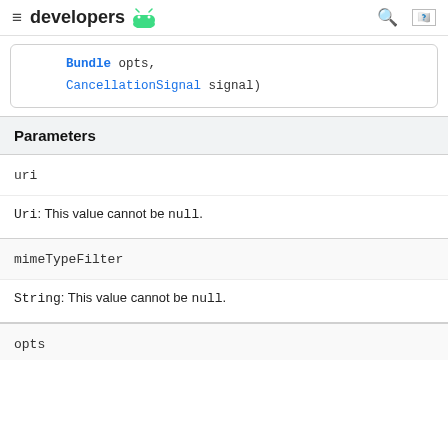developers
Bundle opts;
CancellationSignal signal)
Parameters
uri
Uri: This value cannot be null.
mimeTypeFilter
String: This value cannot be null.
opts